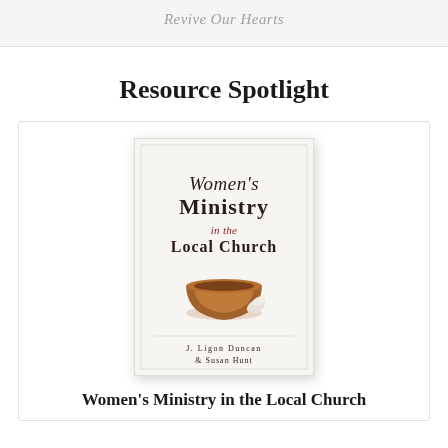Revive Our Hearts
Resource Spotlight
[Figure (illustration): Book cover of 'Women's Ministry in the Local Church' by J. Ligon Duncan & Susan Hunt. White cover with serif title text in dark and red tones, featuring an image of a wooden bowl.]
Women's Ministry in the Local Church